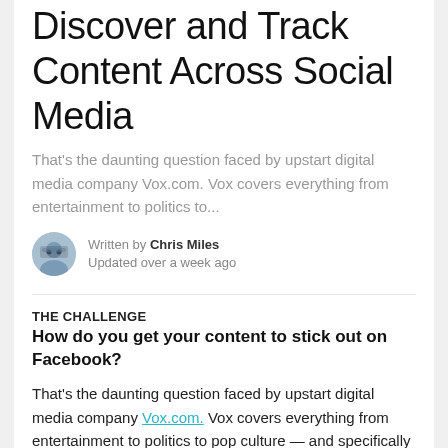Discover and Track Content Across Social Media
That's the daunting question faced by upstart digital media company Vox.com. Vox covers everything from entertainment to politics to...
Written by Chris Miles
Updated over a week ago
THE CHALLENGE
How do you get your content to stick out on Facebook?
That's the daunting question faced by upstart digital media company Vox.com. Vox covers everything from entertainment to politics to pop culture — and specifically anything trending across social media. Vox's